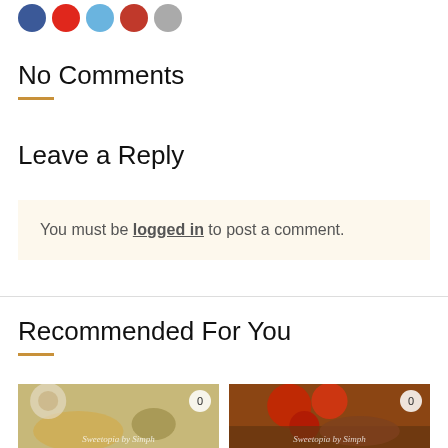[Figure (other): Row of social sharing icon circles: blue, red, light blue, red, gray]
No Comments
Leave a Reply
You must be logged in to post a comment.
Recommended For You
[Figure (photo): Food photo showing hummus, olives, and appetizers on a table with candles. Watermark: Sweetopia by Simph. Badge: 0]
[Figure (photo): Food photo showing roasted tomatoes and vegetables on a dish. Watermark: Sweetopia by Simph. Badge: 0]